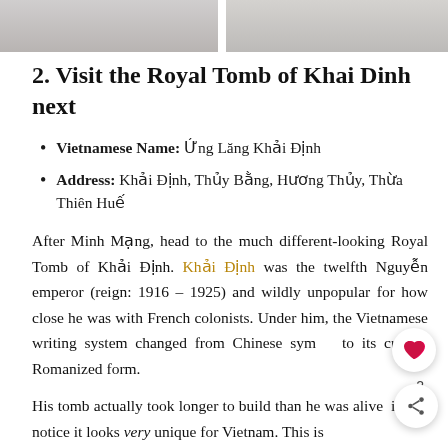[Figure (photo): Two photographs at the top of the page side by side, partially visible, showing outdoor/architectural scenes in muted tones.]
2. Visit the Royal Tomb of Khai Dinh next
Vietnamese Name: Ứng Lăng Khải Định
Address: Khải Định, Thủy Bằng, Hương Thủy, Thừa Thiên Huế
After Minh Mạng, head to the much different-looking Royal Tomb of Khải Định. Khải Định was the twelfth Nguyễn emperor (reign: 1916 – 1925) and wildly unpopular for how close he was with French colonists. Under him, the Vietnamese writing system changed from Chinese symbols to its current Romanized form.
His tomb actually took longer to build than he was alive, if you notice it looks very unique for Vietnam. This is